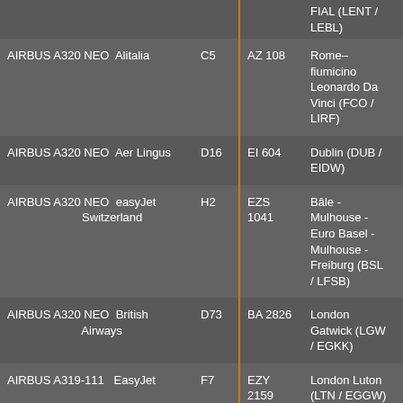| Aircraft | Airline | Gate | Flight | Destination |
| --- | --- | --- | --- | --- |
|  |  |  |  | FIAL (LENT / LEBL) |
| AIRBUS A320 NEO | Alitalia | C5 | AZ 108 | Rome–fiumicino Leonardo Da Vinci (FCO / LIRF) |
| AIRBUS A320 NEO | Aer Lingus | D16 | EI 604 | Dublin (DUB / EIDW) |
| AIRBUS A320 NEO | easyJet Switzerland | H2 | EZS 1041 | Bâle - Mulhouse - Euro Basel - Mulhouse - Freiburg (BSL / LFSB) |
| AIRBUS A320 NEO | British Airways | D73 | BA 2826 | London Gatwick (LGW / EGKK) |
| AIRBUS A319-111 | EasyJet | F7 | EZY 2159 | London Luton (LTN / EGGW) |
| AIRBUS A320 NEO | OpenSkies | B16 | EJU 7930 | Nice - Côte D'azur (NCE / LEMN) |